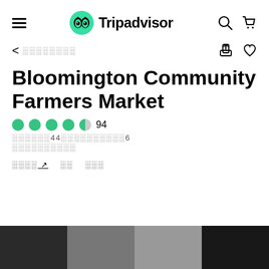[Figure (logo): Tripadvisor logo with green owl icon and wordmark]
< ░░░░░░░░
Bloomington Community Farmers Market
●●●●◑ 94
░░░░░░44░░░░░░░░░6
░░░░░░░░░░
░░░░ ↗   ░░   ░░░
[Figure (photo): Row of photos at bottom of page showing people at a farmers market]